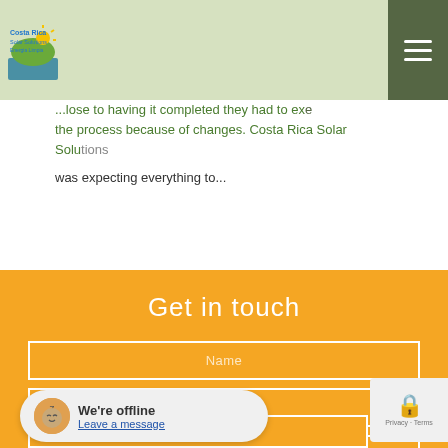Costa Rica Solar Solutions – Energia Limpia
...close to having it completed they had to extend the process because of changes. Costa Rica Solar Solutions was expecting everything to...
Get in touch
Name
Email
Phone
Subject
We're offline
Leave a message